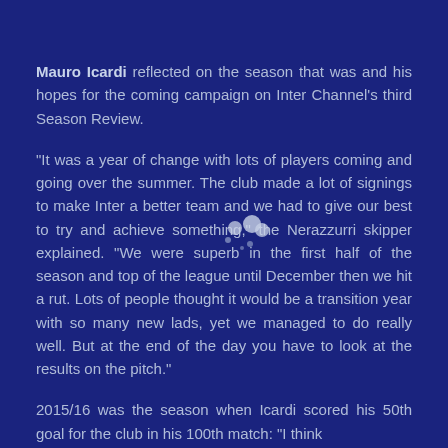Mauro Icardi reflected on the season that was and his hopes for the coming campaign on Inter Channel's third Season Review.
"It was a year of change with lots of players coming and going over the summer. The club made a lot of signings to make Inter a better team and we had to give our best to try and achieve something," the Nerazzurri skipper explained. "We were superb in the first half of the season and top of the league until December then we hit a rut. Lots of people thought it would be a transition year with so many new lads, yet we managed to do really well. But at the end of the day you have to look at the results on the pitch."
2015/16 was the season when Icardi scored his 50th goal for the club in his 100th match: "I think